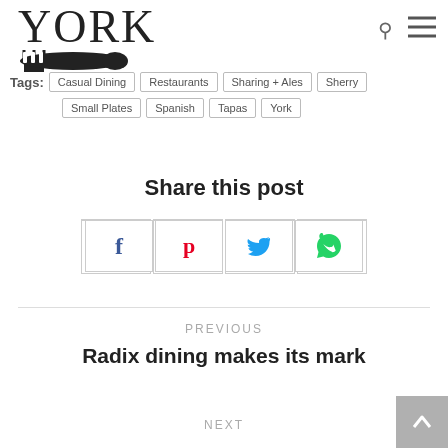YORK
Tags: Casual Dining  Restaurants  Sharing + Ales  Sherry  Small Plates  Spanish  Tapas  York
Share this post
PREVIOUS
Radix dining makes its mark
NEXT